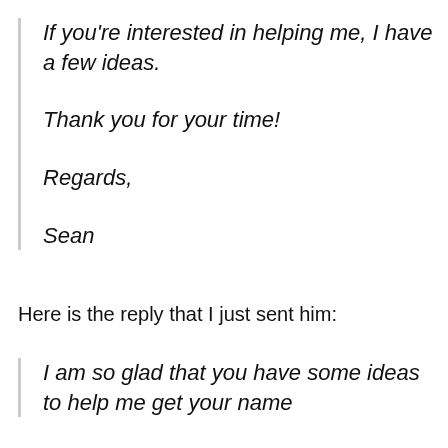If you're interested in helping me, I have a few ideas.
Thank you for your time!
Regards,
Sean
Here is the reply that I just sent him:
I am so glad that you have some ideas to help me get your name